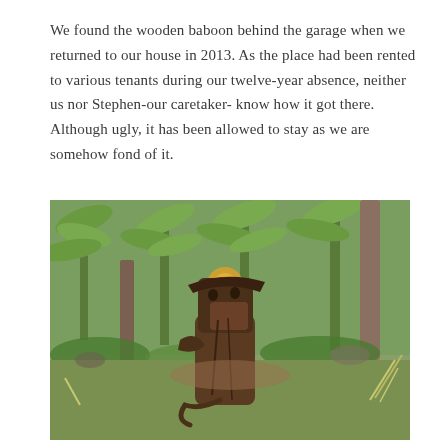We found the wooden baboon behind the garage when we returned to our house in 2013. As the place had been rented to various tenants during our twelve-year absence, neither us nor Stephen-our caretaker- know how it got there. Although ugly, it has been allowed to stay as we are somehow fond of it.
[Figure (photo): Photograph of a wooden baboon sculpture sitting in a garden with banana trees and green vegetation in the background. The sculpture is made from dark weathered wood and depicts a stylized baboon figure with a distinctive elongated snout. There is a bokeh orange/yellow light visible in the background foliage.]